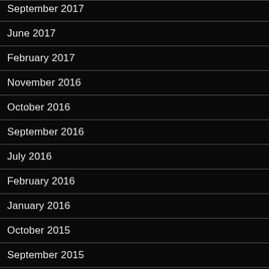September 2017
June 2017
February 2017
November 2016
October 2016
September 2016
July 2016
February 2016
January 2016
October 2015
September 2015
August 2015
July 2015